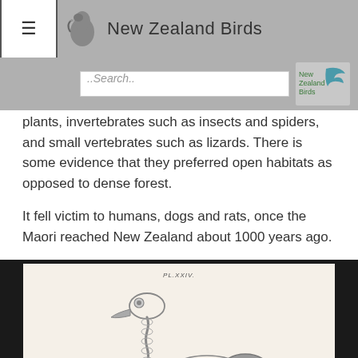New Zealand Birds
plants, invertebrates such as insects and spiders, and small vertebrates such as lizards. There is some evidence that they preferred open habitats as opposed to dense forest.
It fell victim to humans, dogs and rats, once the Maori reached New Zealand about 1000 years ago.
[Figure (illustration): Historical scientific illustration/engraving of a bird skeleton (moa), showing the skull, neck vertebrae, ribcage and wing remnant on a cream/beige background. Plate label reads 'PL.XXIV.' at top.]